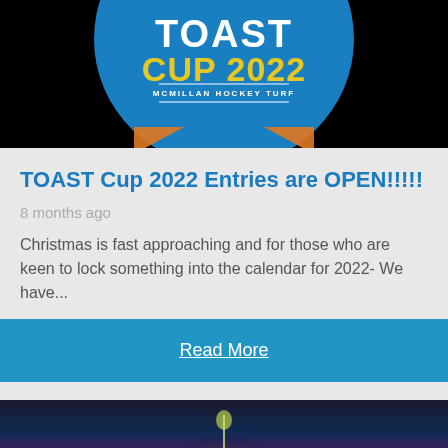[Figure (logo): TOAST Cup 2022 circular logo on dark background, blue circle with yellow text 'CUP 2022' and white text 'MCMILLAN HOCKEY TURF']
TOAST Cup 2022 Entries are OPEN!!!!!
8 months ago
Christmas is fast approaching and for those who are keen to lock something into the calendar for 2022- We have...
Read More
[Figure (photo): Dark background with glowing green/yellow light, partial image cut off at bottom of page]